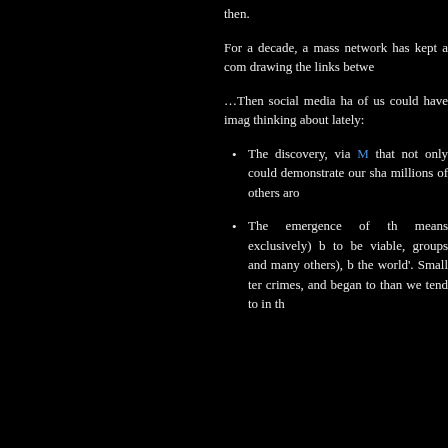then.
For a decade, a mass network has kept a comprehensive record, drawing the links between
...Then social media had of us could have imagined thinking about lately:
The discovery, via M[link] that not only could demonstrate our sha millions of others aro
The emergence of th means exclusively) b to be viable, groups and many others), b the world'. Small ter crimes, and began to than we tend to in th